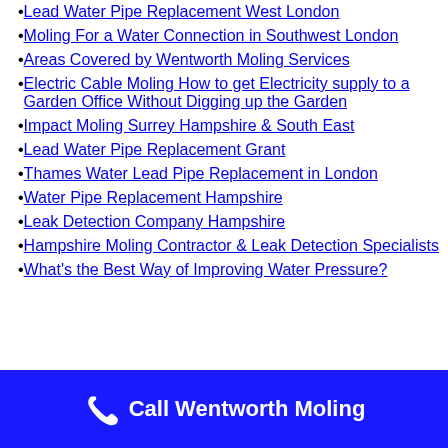Lead Water Pipe Replacement West London
Moling For a Water Connection in Southwest London
Areas Covered by Wentworth Moling Services
Electric Cable Moling How to get Electricity supply to a Garden Office Without Digging up the Garden
Impact Moling Surrey Hampshire & South East
Lead Water Pipe Replacement Grant
Thames Water Lead Pipe Replacement in London
Water Pipe Replacement Hampshire
Leak Detection Company Hampshire
Hampshire Moling Contractor & Leak Detection Specialists
What's the Best Way of Improving Water Pressure?
Call Wentworth Moling